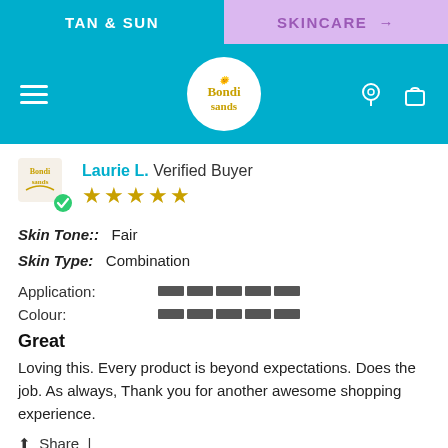TAN & SUN | SKINCARE →
[Figure (logo): Bondi Sands logo in white circle on teal header bar with hamburger menu, location pin and bag icons]
Laurie L. Verified Buyer
[Figure (other): 5 gold stars rating]
Skin Tone:: Fair
Skin Type: Combination
Application:
[Figure (other): Application rating bar - 5 filled dark segments]
Colour:
[Figure (other): Colour rating bar - 5 filled dark segments]
Great
Loving this. Every product is beyond expectations. Does the job. As always, Thank you for another awesome shopping experience.
Share |
08/17/22